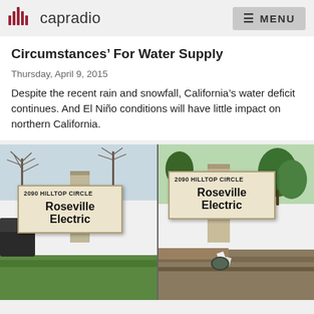capradio  MENU
Circumstances’ For Water Supply
Thursday, April 9, 2015
Despite the recent rain and snowfall, California’s water deficit continues. And El Niño conditions will have little impact on northern California.
[Figure (photo): Two side-by-side photos of Roseville Electric signs at 2090 Hilltop Circle. Left photo shows the sign with green lawn and bare winter trees. Right photo shows same sign with dry/dirt landscaping.]